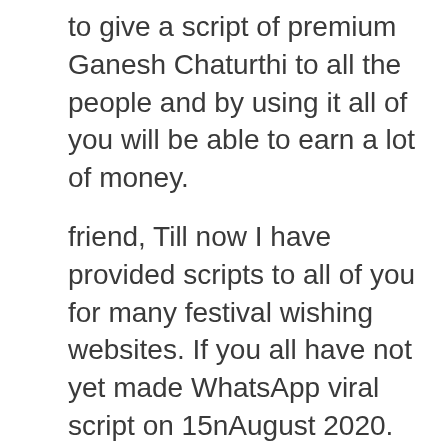to give a script of premium Ganesh Chaturthi to all the people and by using it all of you will be able to earn a lot of money.
friend, Till now I have provided scripts to all of you for many festival wishing websites. If you all have not yet made WhatsApp viral script on 15nAugust 2020. So I will give it in the link below. So of course you all use this script. As you all know that in today's time. Many people try to earn money